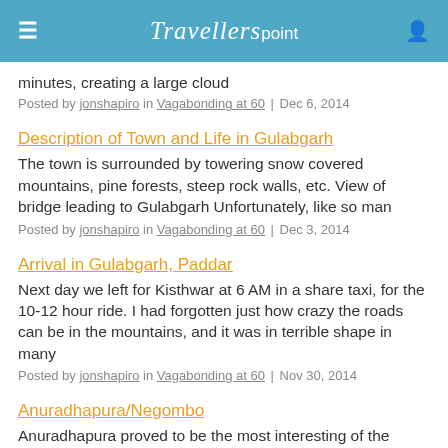Travellerspoint
minutes, creating a large cloud
Posted by jonshapiro in Vagabonding at 60 | Dec 6, 2014
Description of Town and Life in Gulabgarh
The town is surrounded by towering snow covered mountains, pine forests, steep rock walls, etc. View of bridge leading to Gulabgarh Unfortunately, like so man
Posted by jonshapiro in Vagabonding at 60 | Dec 3, 2014
Arrival in Gulabgarh, Paddar
Next day we left for Kisthwar at 6 AM in a share taxi, for the 10-12 hour ride. I had forgotten just how crazy the roads can be in the mountains, and it was in terrible shape in many
Posted by jonshapiro in Vagabonding at 60 | Nov 30, 2014
Anuradhapura/Negombo
Anuradhapura proved to be the most interesting of the